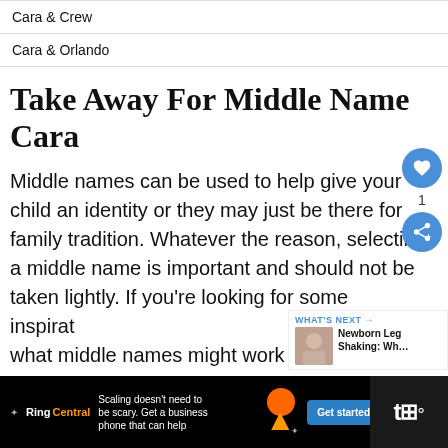Cara & Crew
Cara & Orlando
Take Away For Middle Name Cara
Middle names can be used to help give your child an identity or they may just be there for family tradition. Whatever the reason, selecting a middle name is important and should not be taken lightly. If you're looking for some inspiration what middle names might work well with
[Figure (other): Floating sidebar with heart button showing count of 1 and share button]
[Figure (other): What's Next promo showing Newborn Leg Shaking article thumbnail]
[Figure (other): RingCentral advertisement banner at bottom: Scaling doesn't need to be scary. Get a business phone that can help. Get started button.]